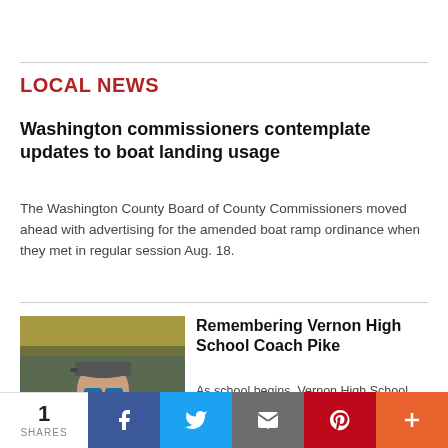LOCAL NEWS
Washington commissioners contemplate updates to boat landing usage
The Washington County Board of County Commissioners moved ahead with advertising for the amended boat ramp ordinance when they met in regular session Aug. 18.
[Figure (photo): Photo of a man wearing sunglasses and a black polo shirt, standing outdoors on a sports field]
Remembering Vernon High School Coach Pike
As school begins, Vernon High School students and staff are reeling from the tragic death of Athletics Director and Head Coach Trey Pike. Pike was killed in a boating accident in the late hours of …
1 SHARES | Facebook | Twitter | Email | Pinterest | More